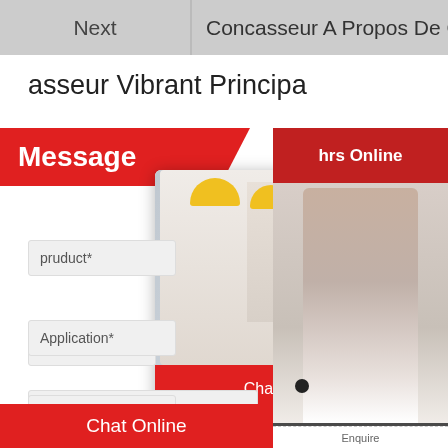Next | Concasseur A Propos De Conc
asseur Vibrant Principa
Message
[Figure (screenshot): Live chat popup overlay with construction workers wearing yellow helmets, LIVE CHAT heading in red, subtitle 'Click for a Free Consultation', Chat now (red) and Chat later (dark) buttons]
hrs Online
[Figure (photo): Customer service agent woman wearing headset, smiling]
Need questions & suggestion?
Chat Now
pruduct*
Application*
Capacity*
Name*
Chat Online